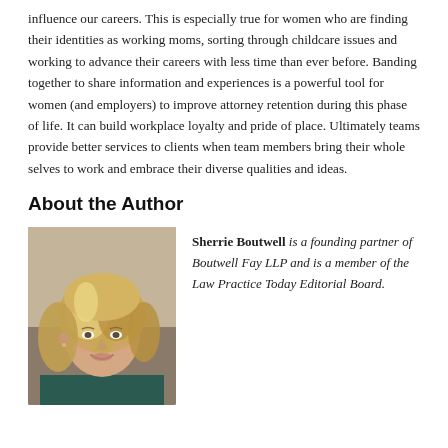influence our careers. This is especially true for women who are finding their identities as working moms, sorting through childcare issues and working to advance their careers with less time than ever before. Banding together to share information and experiences is a powerful tool for women (and employers) to improve attorney retention during this phase of life. It can build workplace loyalty and pride of place. Ultimately teams provide better services to clients when team members bring their whole selves to work and embrace their diverse qualities and ideas.
About the Author
[Figure (photo): Headshot photograph of Sherrie Boutwell, a woman with blonde-highlighted hair, smiling, wearing a dark teal top.]
Sherrie Boutwell is a founding partner of Boutwell Fay LLP and is a member of the Law Practice Today Editorial Board.